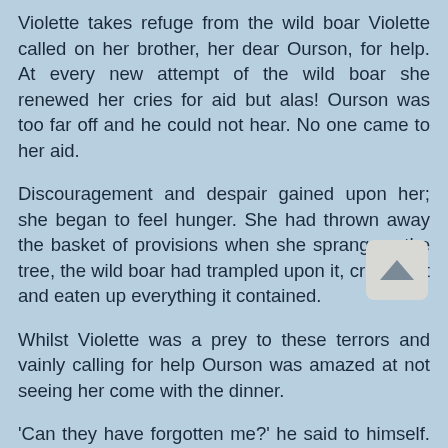Violette takes refuge from the wild boar Violette called on her brother, her dear Ourson, for help. At every new attempt of the wild boar she renewed her cries for aid but alas! Ourson was too far off and he could not hear. No one came to her aid.
Discouragement and despair gained upon her; she began to feel hunger. She had thrown away the basket of provisions when she sprang up the tree, the wild boar had trampled upon it, crushed it and eaten up everything it contained.
Whilst Violette was a prey to these terrors and vainly calling for help Ourson was amazed at not seeing her come with the dinner.
'Can they have forgotten me?' he said to himself. 'No, neither my mother nor Violette could have forgotten me.